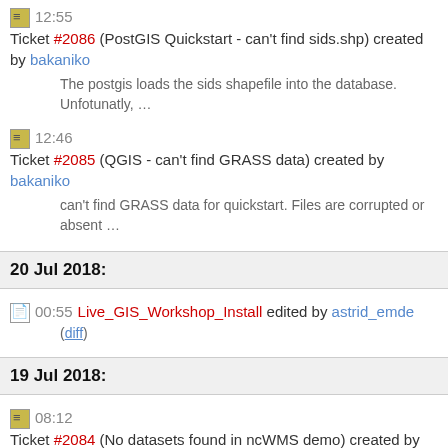12:55 Ticket #2086 (PostGIS Quickstart - can't find sids.shp) created by bakaniko
The postgis loads the sids shapefile into the database. Unfotunatly, …
12:46 Ticket #2085 (QGIS - can't find GRASS data) created by bakaniko
can't find GRASS data for quickstart. Files are corrupted or absent …
20 Jul 2018:
00:55 Live_GIS_Workshop_Install edited by astrid_emde
(diff)
19 Jul 2018:
08:12 Ticket #2084 (No datasets found in ncWMS demo) created by kalxas